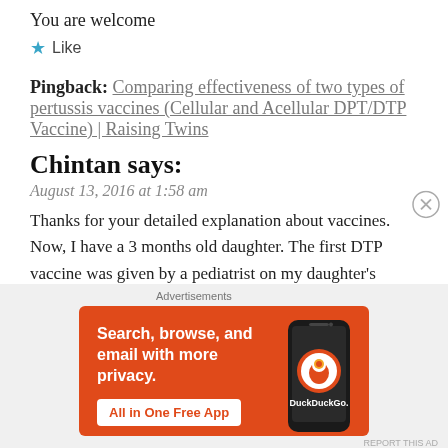You are welcome
★ Like
Pingback: Comparing effectiveness of two types of pertussis vaccines (Cellular and Acellular DPT/DTP Vaccine) | Raising Twins
Chintan says:
August 13, 2016 at 1:58 am
Thanks for your detailed explanation about vaccines. Now, I have a 3 months old daughter. The first DTP vaccine was given by a pediatrist on my daughter's buttocks. He said that the ones giving vaccine on thighs are useless. Then 2nd vaccine
[Figure (screenshot): DuckDuckGo advertisement banner with orange background showing 'Search, browse, and email with more privacy. All in One Free App' with phone graphic and DuckDuckGo logo]